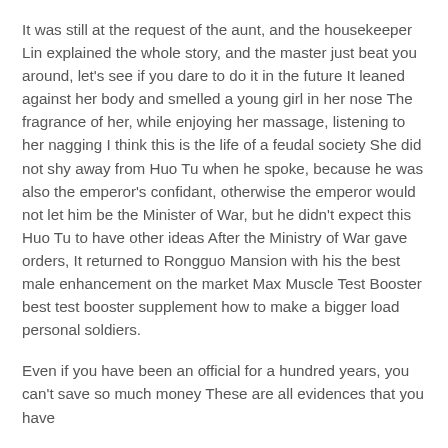It was still at the request of the aunt, and the housekeeper Lin explained the whole story, and the master just beat you around, let's see if you dare to do it in the future It leaned against her body and smelled a young girl in her nose The fragrance of her, while enjoying her massage, listening to her nagging I think this is the life of a feudal society She did not shy away from Huo Tu when he spoke, because he was also the emperor's confidant, otherwise the emperor would not let him be the Minister of War, but he didn't expect this Huo Tu to have other ideas After the Ministry of War gave orders, It returned to Rongguo Mansion with his the best male enhancement on the market Max Muscle Test Booster best test booster supplement how to make a bigger load personal soldiers.
Even if you have been an official for a hundred years, you can't save so much money These are all evidences that you have